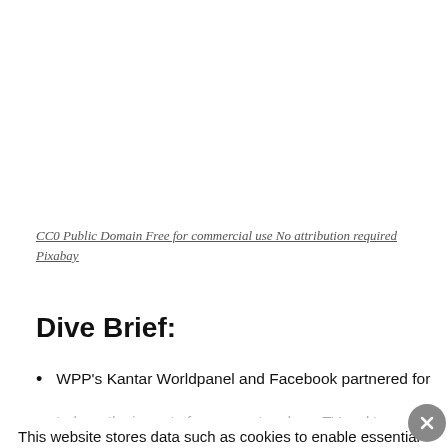CC0 Public Domain Free for commercial use No attribution required
Pixabay
Dive Brief:
WPP's Kantar Worldpanel and Facebook partnered for a study on the impact of exposure to ads on TV and the social media platform. The Drum. Based on existing data around exposure only on TV and Facebook, the expected increase in likelihood to
This website stores data such as cookies to enable essential site functionality, as well as marketing, personalization, and analytics. By remaining on this website you indicate your consent. Privacy Policy